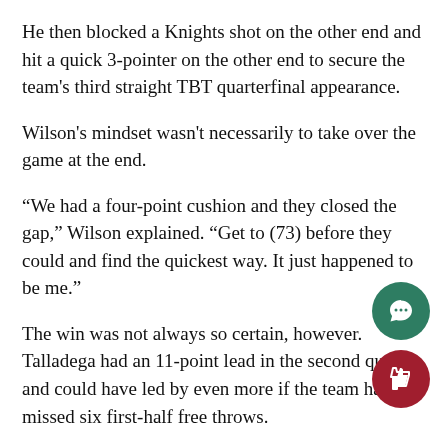He then blocked a Knights shot on the other end and hit a quick 3-pointer on the other end to secure the team's third straight TBT quarterfinal appearance.
Wilson's mindset wasn't necessarily to take over the game at the end.
“We had a four-point cushion and they closed the gap,” Wilson explained. “Get to (73) before they could and find the quickest way. It just happened to be me.”
The win was not always so certain, however. Talladega had an 11-point lead in the second quarter and could have led by even more if the team hadn't missed six first-half free throws.
Meanwhile Marquette's offense was virtually nonexistent in the first half, shooting 27 percent from the field and 18 percent from 3-point range.
Head coach Joe Chapman's halftime adjustments made quite a difference. Fluid ball movement allowed the Golden Eagles to score on their first five possessions of the second half.